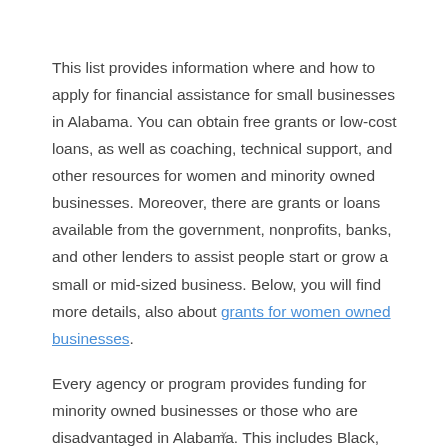This list provides information where and how to apply for financial assistance for small businesses in Alabama. You can obtain free grants or low-cost loans, as well as coaching, technical support, and other resources for women and minority owned businesses. Moreover, there are grants or loans available from the government, nonprofits, banks, and other lenders to assist people start or grow a small or mid-sized business. Below, you will find more details, also about grants for women owned businesses.
Every agency or program provides funding for minority owned businesses or those who are disadvantaged in Alabama. This includes Black, Latino, Asian, veterans, immigrants, and other minorities. There are also low-cost loans and free grants provided